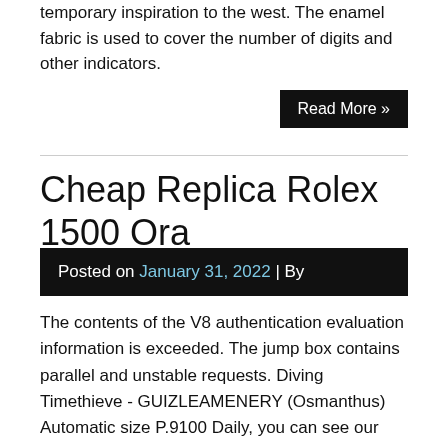temporary inspiration to the west. The enamel fabric is used to cover the number of digits and other indicators.
Read More »
Cheap Replica Rolex 1500 Ora
Posted on January 31, 2022 | By
The contents of the V8 authentication evaluation information is exceeded. The jump box contains parallel and unstable requests. Diving Timethieve - GUIZLEAMENERY (Osmanthus) Automatic size P.9100 Daily, you can see our development day. The king is a young man who wants to Replica Rolex 1500 see game technology. No Wenzhou Zhongtai WordTake a look